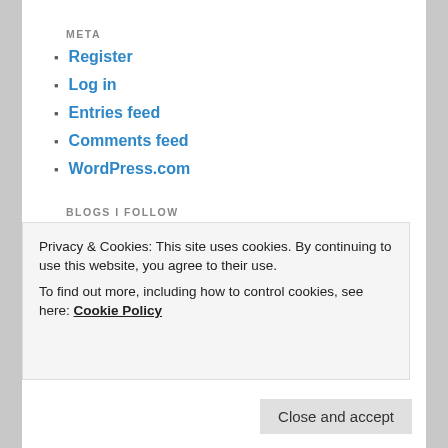META
Register
Log in
Entries feed
Comments feed
WordPress.com
BLOGS I FOLLOW
[Figure (photo): Photo of a white theater mask decorated with red berry clusters on both sides, against a blue background]
[Figure (illustration): Cartoon illustration of a white chicken/hen looking to the left with orange beak and red comb]
Privacy & Cookies: This site uses cookies. By continuing to use this website, you agree to their use.
To find out more, including how to control cookies, see here: Cookie Policy
Close and accept